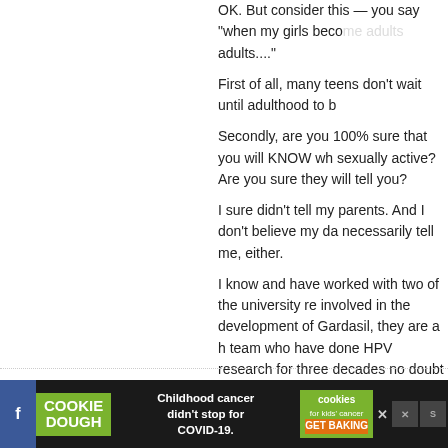OK. But consider this — you say "when my girls become adults...."
First of all, many teens don't wait until adulthood to b[e sexually active].
Secondly, are you 100% sure that you will KNOW when [your daughters become] sexually active? Are you sure they will tell you?
I sure didn't tell my parents. And I don't believe my da[ughters will] necessarily tell me, either.
I know and have worked with two of the university re[searchers] involved in the development of Gardasil, they are a h[ighly respected] team who have done HPV research for three decades[. I have] no doubt that their research is pure and unmotivate[d by] profit. I know the passion they have for fighting these [diseases].
My daughter will get the vaccine at 12, period, no qu[estions —] a no-brainer for me.
> Reply
93. angeline says:
[Figure (infographic): Advertisement banner at bottom of page: Cookie Dough brand ad with 'Childhood cancer didn't stop for COVID-19. GET BAKING' and cookies for kids' cancer logo]